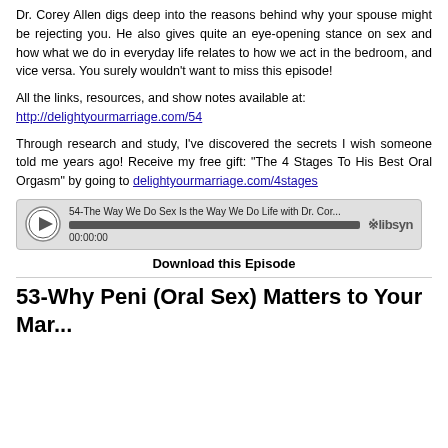Dr. Corey Allen digs deep into the reasons behind why your spouse might be rejecting you. He also gives quite an eye-opening stance on sex and how what we do in everyday life relates to how we act in the bedroom, and vice versa. You surely wouldn't want to miss this episode!
All the links, resources, and show notes available at: http://delightyourmarriage.com/54
Through research and study, I've discovered the secrets I wish someone told me years ago! Receive my free gift: "The 4 Stages To His Best Oral Orgasm" by going to delightyourmarriage.com/4stages
[Figure (other): Audio player widget showing episode '54-The Way We Do Sex Is the Way We Do Life with Dr. Cor...' with play button, progress bar, timestamp 00:00:00, and Libsyn logo]
Download this Episode
53-Why Peni (Oral Sex) Matters to Your Mar...